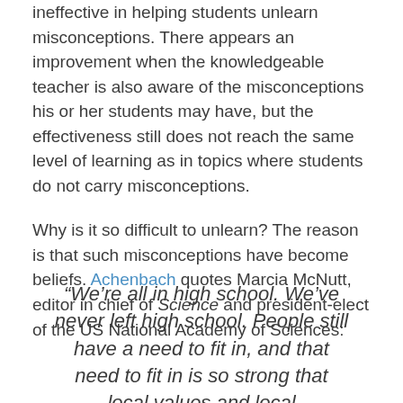ineffective in helping students unlearn misconceptions. There appears an improvement when the knowledgeable teacher is also aware of the misconceptions his or her students may have, but the effectiveness still does not reach the same level of learning as in topics where students do not carry misconceptions.
Why is it so difficult to unlearn? The reason is that such misconceptions have become beliefs. Achenbach quotes Marcia McNutt, editor in chief of Science and president-elect of the US National Academy of Sciences:
“We’re all in high school. We’ve never left high school. People still have a need to fit in, and that need to fit in is so strong that local values and local